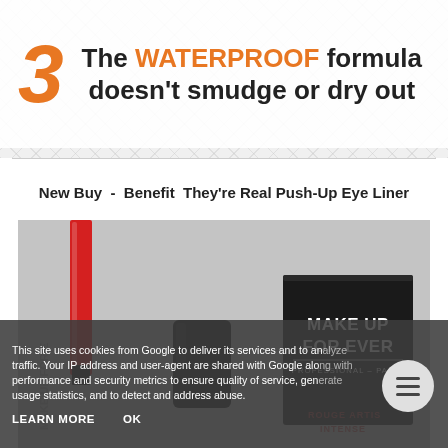3 The WATERPROOF formula doesn't smudge or dry out
New Buy - Benefit They're Real Push-Up Eye Liner
[Figure (photo): Photo of makeup products including a red eyeliner pencil and a black Make Up For Ever professional Paris product box]
This site uses cookies from Google to deliver its services and to analyze traffic. Your IP address and user-agent are shared with Google along with performance and security metrics to ensure quality of service, generate usage statistics, and to detect and address abuse.
LEARN MORE   OK